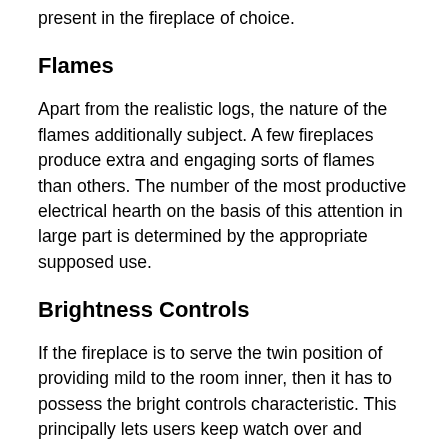present in the fireplace of choice.
Flames
Apart from the realistic logs, the nature of the flames additionally subject. A few fireplaces produce extra and engaging sorts of flames than others. The number of the most productive electrical hearth on the basis of this attention in large part is determined by the appropriate supposed use.
Brightness Controls
If the fireplace is to serve the twin position of providing mild to the room inner, then it has to possess the bright controls characteristic. This principally lets users keep watch over and determines the brightness or dullness of the